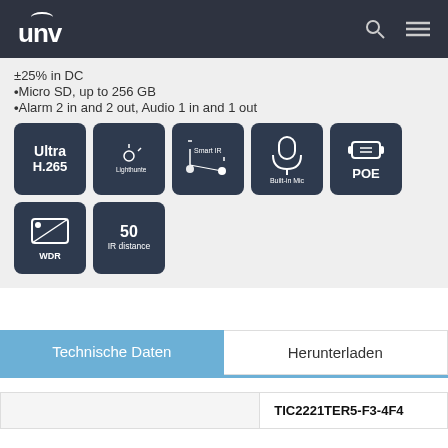UNV
±25% in DC
•Micro SD, up to 256 GB
•Alarm 2 in and 2 out, Audio 1 in and 1 out
[Figure (infographic): Feature icons: Ultra H.265, Lighthunter, Smart IR, Built-in Mic, POE, WDR, 50 IR distance]
Technische Daten
Herunterladen
|  | TIC2221TER5-F3-4F4 |
| --- | --- |
|  | TIC2221TER5-F3-4F4 |